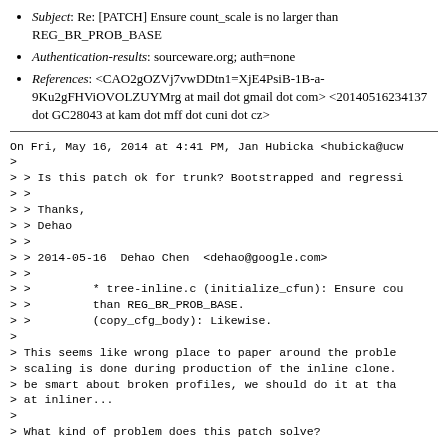Subject: Re: [PATCH] Ensure count_scale is no larger than REG_BR_PROB_BASE
Authentication-results: sourceware.org; auth=none
References: <CAO2gOZVj7vwDDtn1=XjE4PsiB-1B-a-9Ku2gFHViOVOLZUYMrg at mail dot gmail dot com> <20140516234137 dot GC28043 at kam dot mff dot cuni dot cz>
On Fri, May 16, 2014 at 4:41 PM, Jan Hubicka <hubicka@ucw
>
> > Is this patch ok for trunk? Bootstrapped and regressi
> >
> > Thanks,
> > Dehao
> >
> > 2014-05-16  Dehao Chen  <dehao@google.com>
> >
> >         * tree-inline.c (initialize_cfun): Ensure cou
> >         than REG_BR_PROB_BASE.
> >         (copy_cfg_body): Likewise.
>
> This seems like wrong place to paper around the proble
> scaling is done during production of the inline clone.
> be smart about broken profiles, we should do it at tha
> at inliner...
>
> What kind of problem does this patch solve?